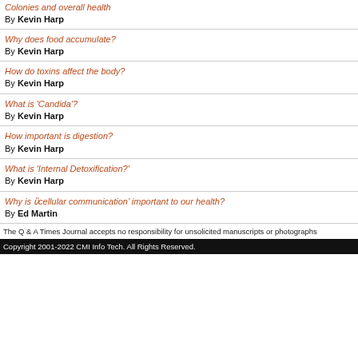Colonies and overall health
By Kevin Harp
Why does food accumulate?
By Kevin Harp
How do toxins affect the body?
By Kevin Harp
What is 'Candida'?
By Kevin Harp
How important is digestion?
By Kevin Harp
What is 'Internal Detoxification?'
By Kevin Harp
Why is ‘cellular communication’ important to our health?
By Ed Martin
The Q & A Times Journal accepts no responsibility for unsolicited manuscripts or photographs
Copyright 2001-2022 CMI Info Tech. All Rights Reserved.